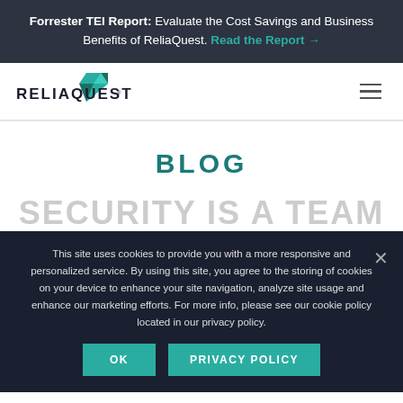Forrester TEI Report: Evaluate the Cost Savings and Business Benefits of ReliaQuest. Read the Report →
[Figure (logo): ReliaQuest logo with teal geometric diamond shape and RELIAQUEST wordmark]
BLOG
SECURITY IS A TEAM (partial, obscured by cookie banner)
This site uses cookies to provide you with a more responsive and personalized service. By using this site, you agree to the storing of cookies on your device to enhance your site navigation, analyze site usage and enhance our marketing efforts. For more info, please see our cookie policy located in our privacy policy.
OK
PRIVACY POLICY